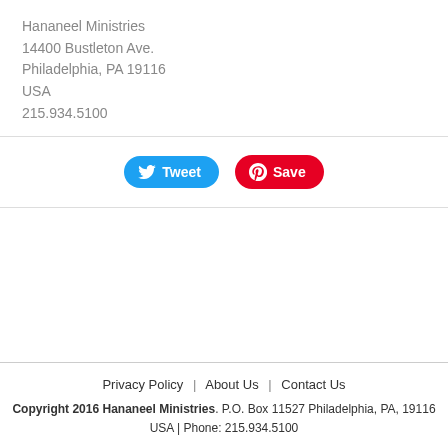Hananeel Ministries
14400 Bustleton Ave.
Philadelphia, PA 19116
USA
215.934.5100
[Figure (infographic): Tweet button (blue, rounded) and Save/Pinterest button (red, rounded) side by side]
Privacy Policy  |  About Us  |  Contact Us
Copyright 2016 Hananeel Ministries. P.O. Box 11527 Philadelphia, PA, 19116 USA | Phone: 215.934.5100